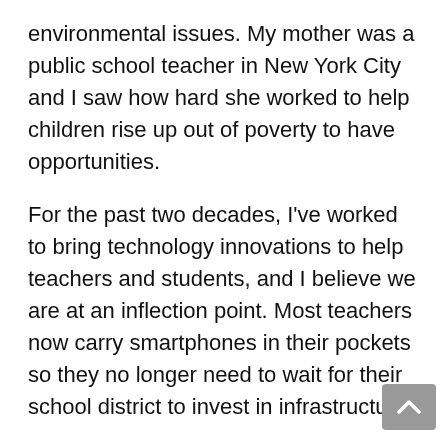environmental issues. My mother was a public school teacher in New York City and I saw how hard she worked to help children rise up out of poverty to have opportunities.
For the past two decades, I've worked to bring technology innovations to help teachers and students, and I believe we are at an inflection point. Most teachers now carry smartphones in their pockets so they no longer need to wait for their school district to invest in infrastructure.
Teachers can access data and information and take immediate action using the Earshot app on their own smartphone. Our app provides teachers with immediate, personalized feedback to be the best teachers they can be.